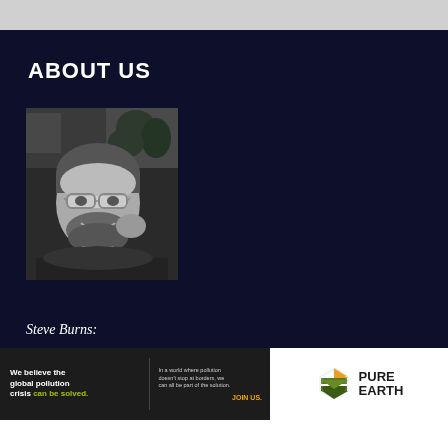ABOUT US
[Figure (photo): Black and white portrait photo of Steve Burns, a man with glasses and a beard, smiling]
Steve Burns:
[Figure (infographic): Ad banner: We believe the global pollution crisis can be solved. In a world where pollution doesn't stop at borders, we can all be part of the solution. JOIN US. Pure Earth logo.]